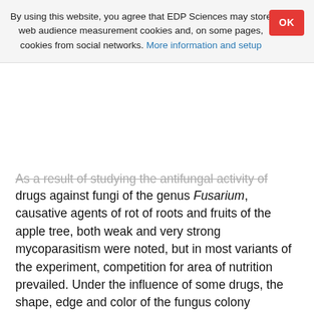By using this website, you agree that EDP Sciences may store web audience measurement cookies and, on some pages, cookies from social networks. More information and setup
As a result of studying the antifungal activity of biological drugs against fungi of the genus Fusarium, causative agents of rot of roots and fruits of the apple tree, both weak and very strong mycoparasitism were noted, but in most variants of the experiment, competition for area of nutrition prevailed. Under the influence of some drugs, the shape, edge and color of the fungus colony changed. In general, for the entire sample of pathogens, the best bioagents were antagonists of the drug Trichocin, WP, which suppressed all 5 strains with Biological efficiency (BE) 50-90 % and showed hyperparasitism in 1 strain; and the drug Alirin B, WP, which inhibited the growth of 3 strains with BE 56-85 %, showing antibiosis or fungistatic antibiotic antagonism with the formation of a “sterile” zone.